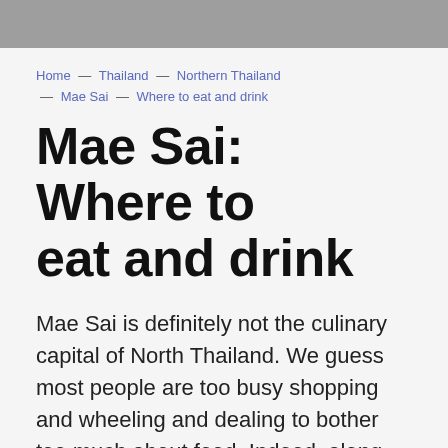Home — Thailand — Northern Thailand — Mae Sai — Where to eat and drink
Mae Sai: Where to eat and drink
Mae Sai is definitely not the culinary capital of North Thailand. We guess most people are too busy shopping and wheeling and dealing to bother too much about food. Indeed, along